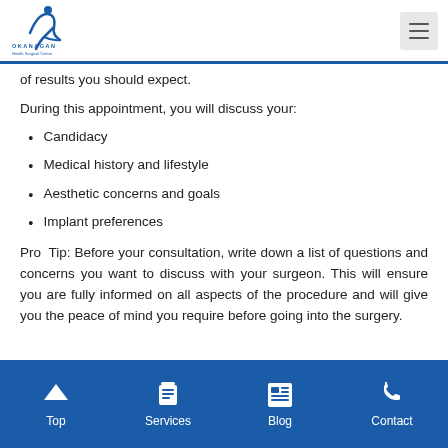Okanagan Health Surgical Centre
of results you should expect.
During this appointment, you will discuss your:
Candidacy
Medical history and lifestyle
Aesthetic concerns and goals
Implant preferences
Pro Tip: Before your consultation, write down a list of questions and concerns you want to discuss with your surgeon. This will ensure you are fully informed on all aspects of the procedure and will give you the peace of mind you require before going into the surgery.
Top | Services | Blog | Contact